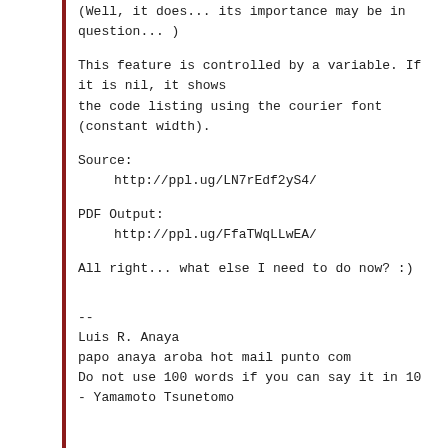(Well, it does... its importance may be in question... )
This feature is controlled by a variable. If it is nil, it shows the code listing using the courier font (constant width).
Source:
    http://ppl.ug/LN7rEdf2yS4/
PDF Output:
    http://ppl.ug/FfaTWqLLwEA/
All right... what else I need to do now? :)
--
Luis R. Anaya
papo anaya aroba hot mail punto com
Do not use 100 words if you can say it in 10
- Yamamoto Tsunetomo